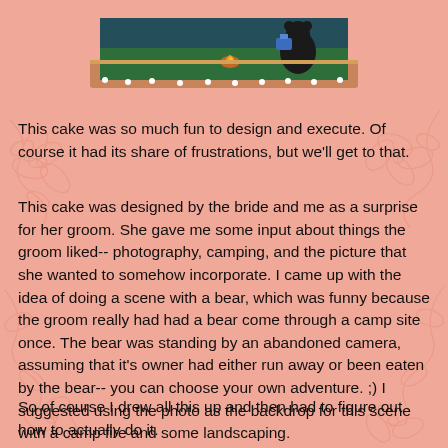[Figure (photo): Photo of a decorated cake on a green surface with a bear figurine and camp scene elements]
This cake was so much fun to design and execute.  Of course it had its share of frustrations, but we'll get to that.
This cake was designed by the bride and me as a surprise for her groom.  She gave me some input about things the groom liked-- photography, camping, and the picture that she wanted to somehow incorporate.  I came up with the idea of doing a scene with a bear, which was funny because the groom really had had a bear come through a camp site once.  The bear was standing by an abandoned camera, assuming that it's owner had either run away or been eaten by the bear-- you can choose your own adventure. ;)  I suggested using the photo as the backdrop for this scene with a camp fire and some landscaping.
So of course I drew all this up and then had to figure out how to actually do it.